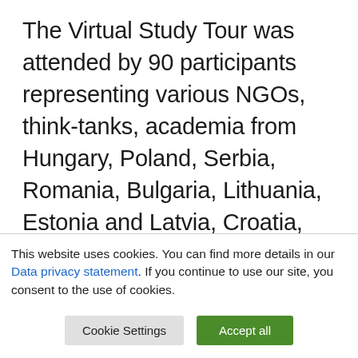The Virtual Study Tour was attended by 90 participants representing various NGOs, think-tanks, academia from Hungary, Poland, Serbia, Romania, Bulgaria, Lithuania, Estonia and Latvia, Croatia, Slovakia, Czechia, but also Spain and Portugal as well as Turkey and Ukraine. It featured 20 speakers including Members of the European Parliament, European Commission officials, industry representatives,
This website uses cookies. You can find more details in our Data privacy statement. If you continue to use our site, you consent to the use of cookies.